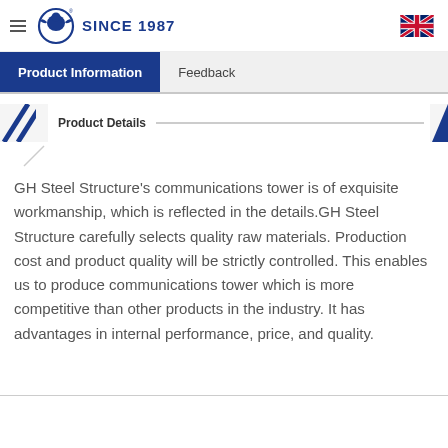GH Steel Structure SINCE 1987
Product Information | Feedback
Product Details
GH Steel Structure's communications tower is of exquisite workmanship, which is reflected in the details.GH Steel Structure carefully selects quality raw materials. Production cost and product quality will be strictly controlled. This enables us to produce communications tower which is more competitive than other products in the industry. It has advantages in internal performance, price, and quality.